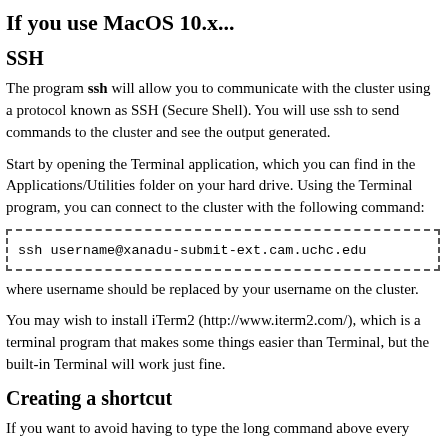If you use MacOS 10.x...
SSH
The program ssh will allow you to communicate with the cluster using a protocol known as SSH (Secure Shell). You will use ssh to send commands to the cluster and see the output generated.
Start by opening the Terminal application, which you can find in the Applications/Utilities folder on your hard drive. Using the Terminal program, you can connect to the cluster with the following command:
ssh username@xanadu-submit-ext.cam.uchc.edu
where username should be replaced by your username on the cluster.
You may wish to install iTerm2 (http://www.iterm2.com/), which is a terminal program that makes some things easier than Terminal, but the built-in Terminal will work just fine.
Creating a shortcut
If you want to avoid having to type the long command above every